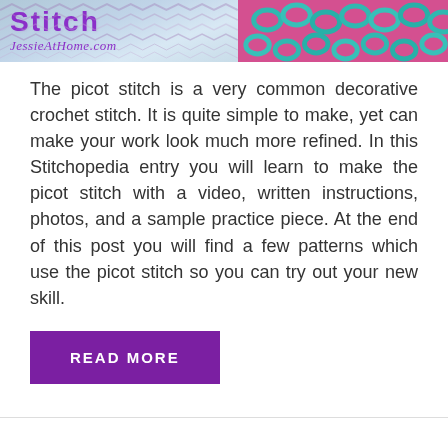[Figure (photo): Banner image for a crochet blog post about the Picot Stitch from JessieAtHome.com. Left side shows a decorative zigzag pattern background with purple text 'Stitch' and purple italic script 'JessieAtHome.com'. Right side shows teal crochet stitches on a pink/magenta background.]
The picot stitch is a very common decorative crochet stitch. It is quite simple to make, yet can make your work look much more refined. In this Stitchopedia entry you will learn to make the picot stitch with a video, written instructions, photos, and a sample practice piece. At the end of this post you will find a few patterns which use the picot stitch so you can try out your new skill.
READ MORE